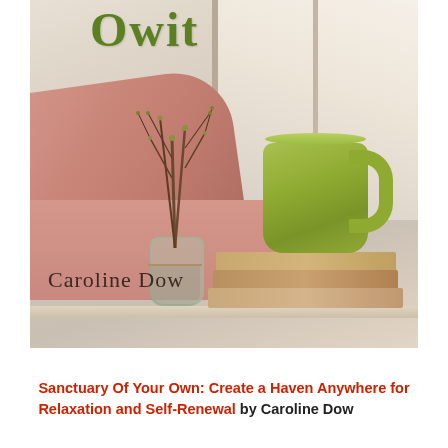[Figure (photo): Book cover image showing a cozy scene with a green ceramic mug, a glass jar with bare branches, a pink/salmon blanket or throw, and stacked books on a windowsill. Partial book title visible at top reading 'Owit' in green letters. Author name 'Caroline Dow' shown in dark text at bottom of cover.]
Sanctuary Of Your Own: Create a Haven Anywhere for Relaxation and Self-Renewal by Caroline Dow